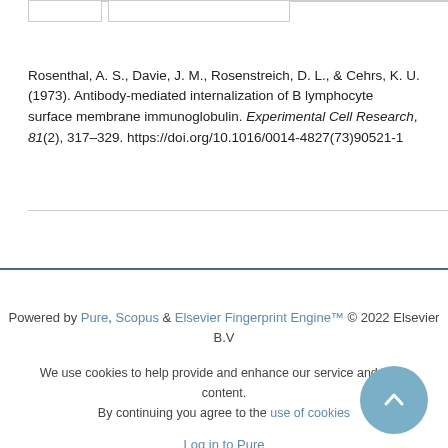Rosenthal, A. S., Davie, J. M., Rosenstreich, D. L., & Cehrs, K. U. (1973). Antibody-mediated internalization of B lymphocyte surface membrane immunoglobulin. Experimental Cell Research, 81(2), 317-329. https://doi.org/10.1016/0014-4827(73)90521-1
Powered by Pure, Scopus & Elsevier Fingerprint Engine™ © 2022 Elsevier B.V

We use cookies to help provide and enhance our service and tailor content. By continuing you agree to the use of cookies

Log in to Pure

About web accessibility